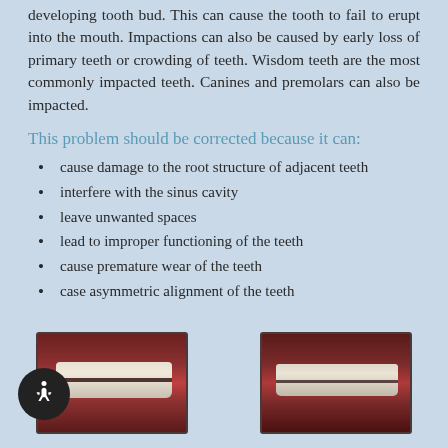developing tooth bud. This can cause the tooth to fail to erupt into the mouth. Impactions can also be caused by early loss of primary teeth or crowding of teeth. Wisdom teeth are the most commonly impacted teeth. Canines and premolars can also be impacted.
This problem should be corrected because it can:
cause damage to the root structure of adjacent teeth
interfere with the sinus cavity
leave unwanted spaces
lead to improper functioning of the teeth
cause premature wear of the teeth
case asymmetric alignment of the teeth
[Figure (photo): Clinical photograph showing frontal view of teeth with impaction or misalignment, visible gum tissue and teeth]
[Figure (photo): Clinical photograph showing frontal view of teeth, second example of dental impaction or misalignment]